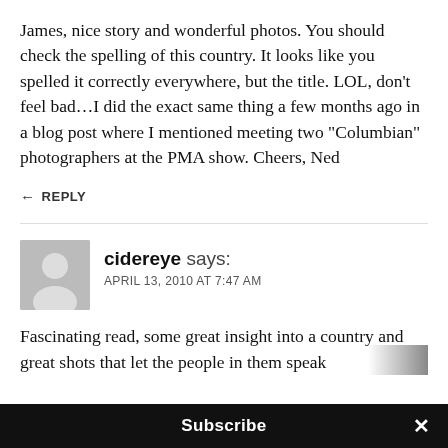James, nice story and wonderful photos. You should check the spelling of this country. It looks like you spelled it correctly everywhere, but the title. LOL, don’t feel bad…I did the exact same thing a few months ago in a blog post where I mentioned meeting two “Columbian” photographers at the PMA show. Cheers, Ned
← REPLY
cidereye says:
APRIL 13, 2010 AT 7:47 AM
Fascinating read, some great insight into a country and great shots that let the people in them speak
Subscribe ×